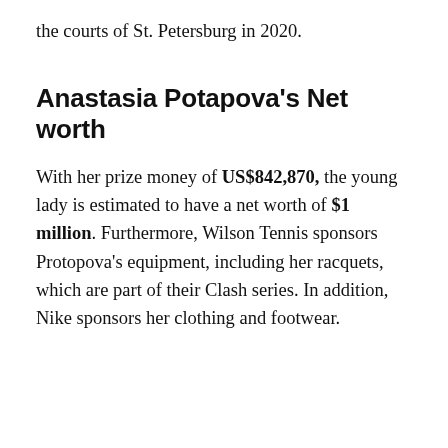the courts of St. Petersburg in 2020.
Anastasia Potapova's Net worth
With her prize money of US$842,870, the young lady is estimated to have a net worth of $1 million. Furthermore, Wilson Tennis sponsors Protopova's equipment, including her racquets, which are part of their Clash series. In addition, Nike sponsors her clothing and footwear.